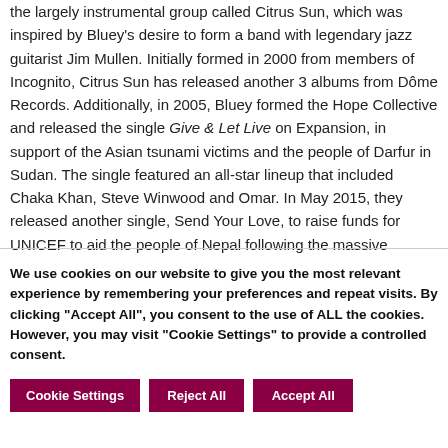the largely instrumental group called Citrus Sun, which was inspired by Bluey's desire to form a band with legendary jazz guitarist Jim Mullen. Initially formed in 2000 from members of Incognito, Citrus Sun has released another 3 albums from Dôme Records. Additionally, in 2005, Bluey formed the Hope Collective and released the single Give & Let Live on Expansion, in support of the Asian tsunami victims and the people of Darfur in Sudan. The single featured an all-star lineup that included Chaka Khan, Steve Winwood and Omar. In May 2015, they released another single, Send Your Love, to raise funds for UNICEF to aid the people of Nepal following the massive earthquake.
We use cookies on our website to give you the most relevant experience by remembering your preferences and repeat visits. By clicking "Accept All", you consent to the use of ALL the cookies. However, you may visit "Cookie Settings" to provide a controlled consent.